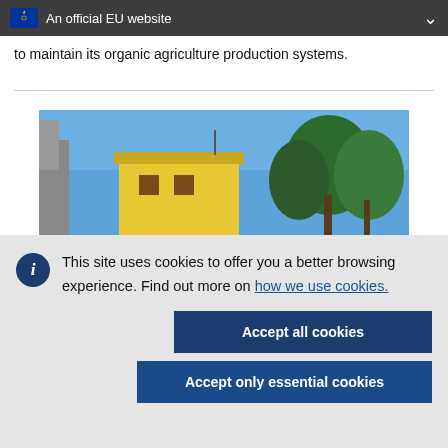An official EU website
to maintain its organic agriculture production systems.
[Figure (photo): Photo of a yellow building under a clear blue sky with green trees in the background.]
This site uses cookies to offer you a better browsing experience. Find out more on how we use cookies.
Accept all cookies
Accept only essential cookies